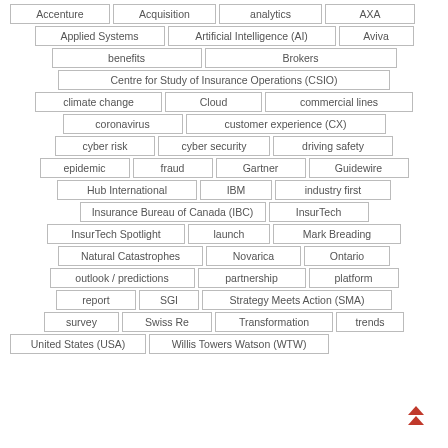Accenture
Acquisition
analytics
AXA
Applied Systems
Artificial Intelligence (AI)
Aviva
benefits
Brokers
Centre for Study of Insurance Operations (CSIO)
climate change
Cloud
commercial lines
coronavirus
customer experience (CX)
cyber risk
cyber security
driving safety
epidemic
fraud
Gartner
Guidewire
Hub International
IBM
industry first
Insurance Bureau of Canada (IBC)
InsurTech
InsurTech Spotlight
launch
Mark Breading
Natural Catastrophes
Novarica
Ontario
outlook / predictions
partnership
platform
report
SGI
Strategy Meets Action (SMA)
survey
Swiss Re
Transformation
trends
United States (USA)
Willis Towers Watson (WTW)